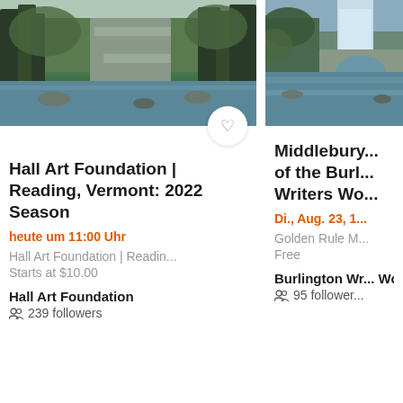[Figure (photo): Outdoor nature/landscape photo showing a river with rocks, trees, and stonework stairs in autumn/early spring setting - Hall Art Foundation Reading Vermont]
Hall Art Foundation | Reading, Vermont: 2022 Season
heute um 11:00 Uhr
Hall Art Foundation | Readin...
Starts at $10.00
Hall Art Foundation
239 followers
[Figure (photo): Outdoor photo showing a waterfall and stone bridge in a natural landscape setting - Middlebury / Burlington Writers Workshop]
Middlebury... of the Burl... Writers Wo...
Di., Aug. 23, 1...
Golden Rule M...
Free
Burlington Wr... Workshop
95 follower...